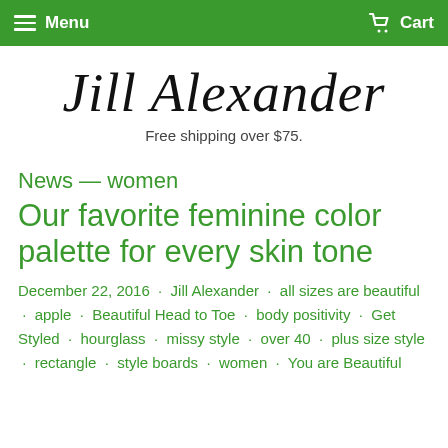Menu  Cart
Jill Alexander
Free shipping over $75.
News — women
Our favorite feminine color palette for every skin tone
December 22, 2016 · Jill Alexander · all sizes are beautiful · apple · Beautiful Head to Toe · body positivity · Get Styled · hourglass · missy style · over 40 · plus size style · rectangle · style boards · women · You are Beautiful